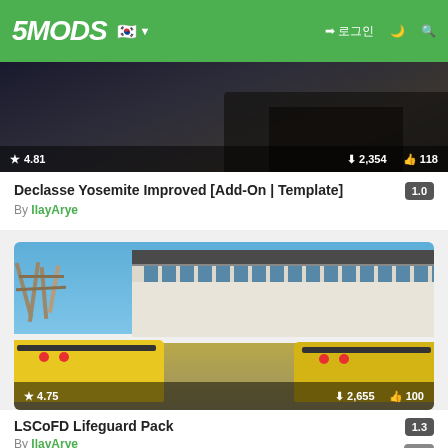5MODS — navigation bar with logo, Korean flag, login, dark mode, and search icons
[Figure (screenshot): Partial thumbnail of car mod showing dark vehicle scene with stats: rating 4.81, downloads 2,354, likes 118]
Declasse Yosemite Improved [Add-On | Template]
By IlayArye
[Figure (screenshot): Thumbnail image showing two yellow LSCoFD lifeguard SUVs with roof racks parked near a beach building and roller coaster. Rating: 4.75, Downloads: 2,655, Likes: 100]
LSCoFD Lifeguard Pack
By IlayArye